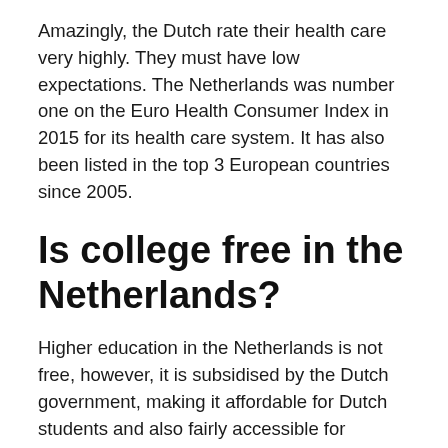Amazingly, the Dutch rate their health care very highly. They must have low expectations. The Netherlands was number one on the Euro Health Consumer Index in 2015 for its health care system. It has also been listed in the top 3 European countries since 2005.
Is college free in the Netherlands?
Higher education in the Netherlands is not free, however, it is subsidised by the Dutch government, making it affordable for Dutch students and also fairly accessible for international students.